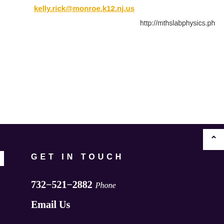kelly.rick@monroe.k12.nj.us
http://mthslabphysics.ph
GET IN TOUCH
732-521-2882 Phone
Email Us